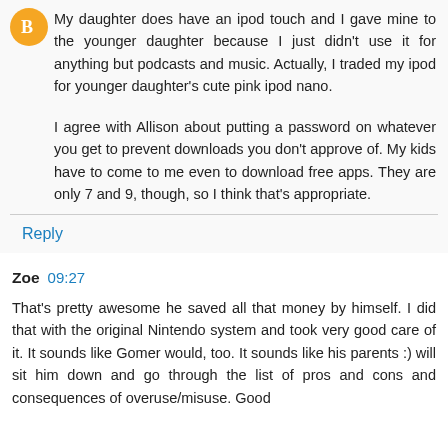[Figure (illustration): Orange circle avatar with Blogger 'B' logo icon]
My daughter does have an ipod touch and I gave mine to the younger daughter because I just didn't use it for anything but podcasts and music. Actually, I traded my ipod for younger daughter's cute pink ipod nano.
I agree with Allison about putting a password on whatever you get to prevent downloads you don't approve of. My kids have to come to me even to download free apps. They are only 7 and 9, though, so I think that's appropriate.
Reply
Zoe 09:27
That's pretty awesome he saved all that money by himself. I did that with the original Nintendo system and took very good care of it. It sounds like Gomer would, too. It sounds like his parents :) will sit him down and go through the list of pros and cons and consequences of overuse/misuse. Good